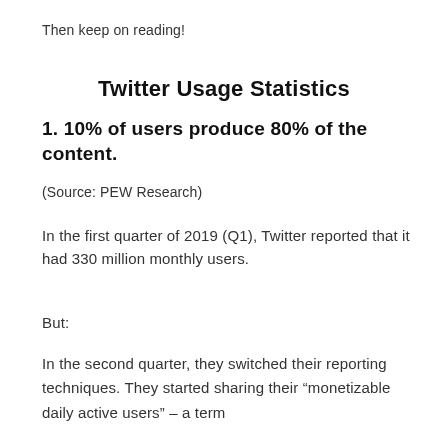Then keep on reading!
Twitter Usage Statistics
1. 10% of users produce 80% of the content.
(Source: PEW Research)
In the first quarter of 2019 (Q1), Twitter reported that it had 330 million monthly users.
But:
In the second quarter, they switched their reporting techniques. They started sharing their “monetizable daily active users” – a term